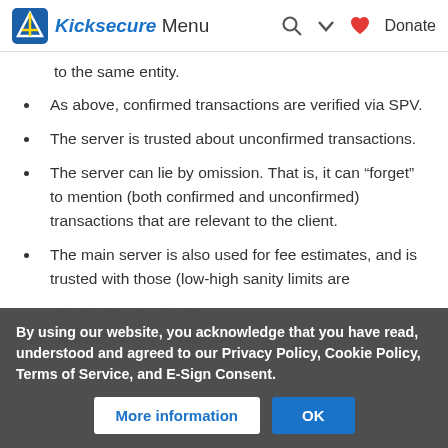Kicksecure Menu | Search | Donate
to the same entity.
As above, confirmed transactions are verified via SPV.
The server is trusted about unconfirmed transactions.
The server can lie by omission. That is, it can “forget” to mention (both confirmed and unconfirmed) transactions that are relevant to the client.
The main server is also used for fee estimates, and is trusted with those (low-high sanity limits are checked by the client).
By using our website, you acknowledge that you have read, understood and agreed to our Privacy Policy, Cookie Policy, Terms of Service, and E-Sign Consent.
More information | OK